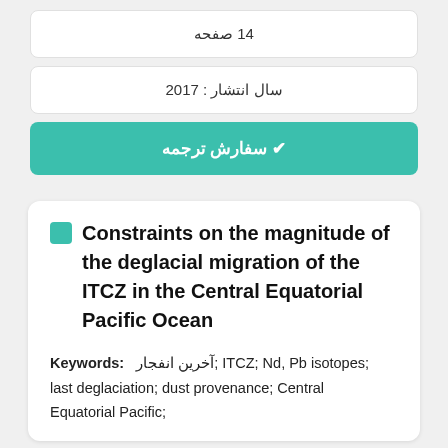14 صفحه
سال انتشار : 2017
✔ سفارش ترجمه
Constraints on the magnitude of the deglacial migration of the ITCZ in the Central Equatorial Pacific Ocean
Keywords: آخرین انفجار; ITCZ; Nd, Pb isotopes; last deglaciation; dust provenance; Central Equatorial Pacific;